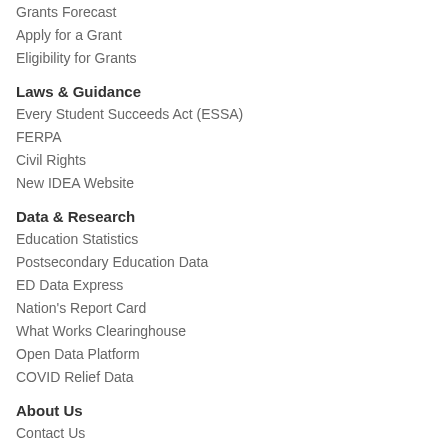Grants Forecast
Apply for a Grant
Eligibility for Grants
Laws & Guidance
Every Student Succeeds Act (ESSA)
FERPA
Civil Rights
New IDEA Website
Data & Research
Education Statistics
Postsecondary Education Data
ED Data Express
Nation's Report Card
What Works Clearinghouse
Open Data Platform
COVID Relief Data
About Us
Contact Us